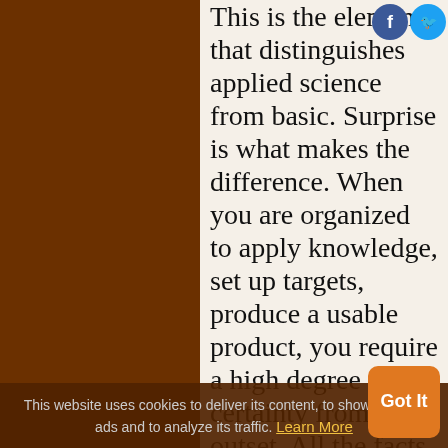This is the element that distinguishes applied science from basic. Surprise is what makes the difference. When you are organized to apply knowledge, set up targets, produce a usable product, you require a high degree of certainty from the outset. All the facts on which you base protocols must be reasonably hard facts with unambiguous meaning. The challenge is to plan the work and delegate it to workers so that results come out precisely as predicted.
This website uses cookies to deliver its content, to show relevant ads and to analyze its traffic. Learn More